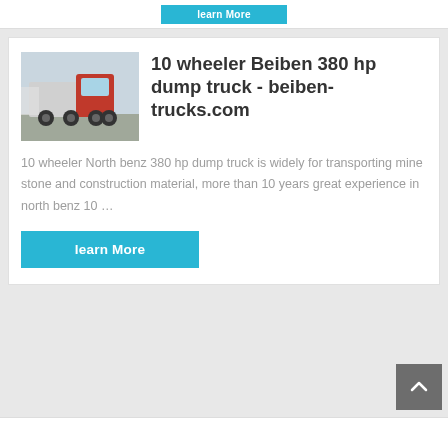[Figure (screenshot): Top strip with a cyan learn More button partially visible]
[Figure (photo): Red Beiben 10 wheeler dump truck photograph]
10 wheeler Beiben 380 hp dump truck - beiben-trucks.com
10 wheeler North benz 380 hp dump truck is widely for transporting mine stone and construction material, more than 10 years great experience in north benz 10 …
[Figure (screenshot): Cyan 'learn More' button]
[Figure (screenshot): Grey back-to-top arrow button in bottom right]
[Figure (screenshot): Bottom white strip beginning of next card]